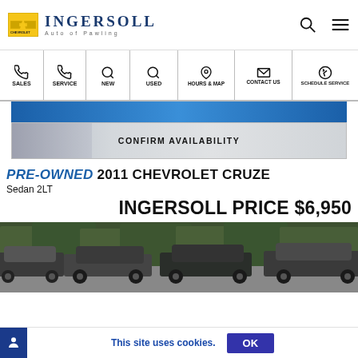Ingersoll Chevrolet Auto of Pawling
[Figure (screenshot): Navigation bar with icons for SALES, SERVICE, NEW, USED, HOURS & MAP, CONTACT US, SCHEDULE SERVICE]
[Figure (screenshot): Blue gradient banner and CONFIRM AVAILABILITY button with star background]
PRE-OWNED 2011 CHEVROLET CRUZE
Sedan 2LT
INGERSOLL PRICE $6,950
[Figure (photo): Outdoor photo of used car lot with multiple vehicles and trees in background]
This site uses cookies.